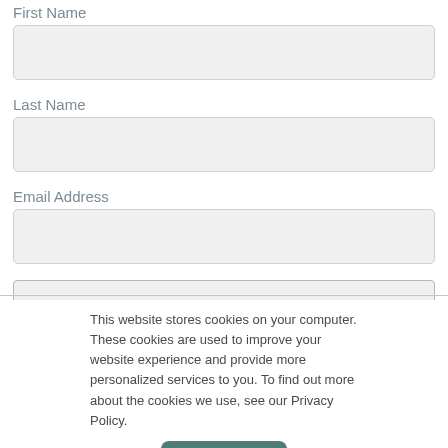First Name
[Figure (other): Empty text input field for First Name]
Last Name
[Figure (other): Empty text input field for Last Name]
Email Address
[Figure (other): Empty text input field for Email Address]
[Figure (other): Submit button]
This website stores cookies on your computer. These cookies are used to improve your website experience and provide more personalized services to you. To find out more about the cookies we use, see our Privacy Policy.
[Figure (other): Accept button for cookie consent]